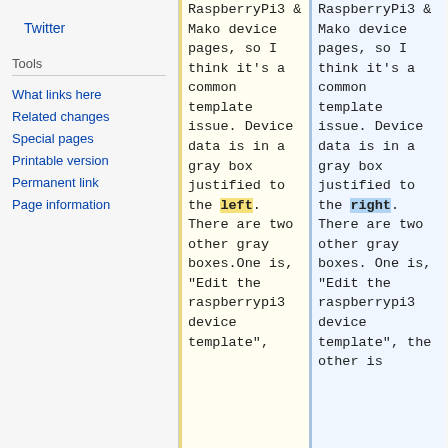Twitter
Tools
What links here
Related changes
Special pages
Printable version
Permanent link
Page information
RaspberryPi3 & Mako device pages, so I think it's a common template issue. Device data is in a gray box justified to the left. There are two other gray boxes.One is, "Edit the raspberrypi3 device template",
RaspberryPi3 & Mako device pages, so I think it's a common template issue. Device data is in a gray box justified to the right. There are two other gray boxes. One is, "Edit the raspberrypi3 device template", the other is